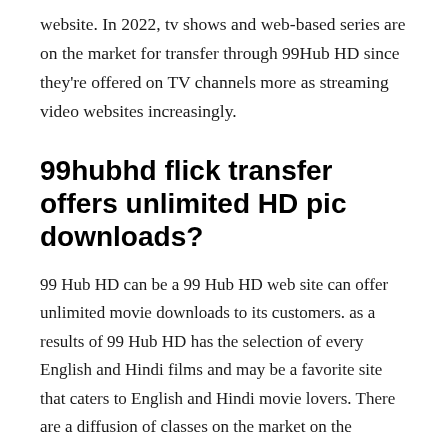website. In 2022, tv shows and web-based series are on the market for transfer through 99Hub HD since they're offered on TV channels more as streaming video websites increasingly.
99hubhd flick transfer offers unlimited HD pic downloads?
99 Hub HD can be a 99 Hub HD web site can offer unlimited movie downloads to its customers. as a results of 99 Hub HD has the selection of every English and Hindi films and may be a favorite site that caters to English and Hindi movie lovers. There are a diffusion of classes on the market on the placement and it' a fluid design. The homepage is where guests will notice the foremost recent movies. Since the location is purloined and blocked by the govt, it' been blocked several domains hosted on the